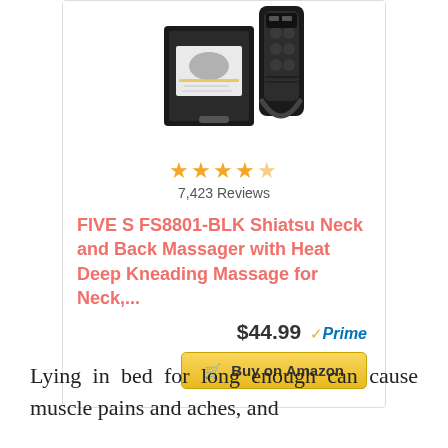[Figure (photo): Product photo of FIVE S FS8801-BLK Shiatsu Neck and Back Massager in black color with its box packaging]
★★★★☆ 7,423 Reviews
FIVE S FS8801-BLK Shiatsu Neck and Back Massager with Heat Deep Kneading Massage for Neck,...
$44.99 ✓Prime
🛒 Buy on Amazon
Lying in bed for long enough can cause muscle pains and aches, and